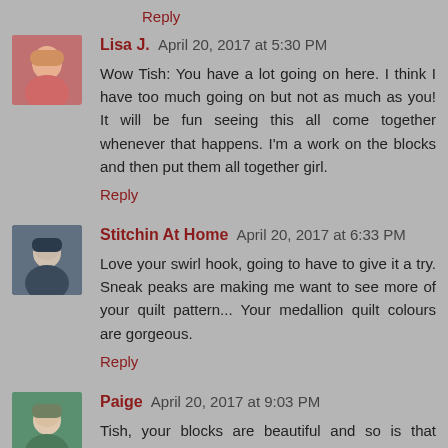Reply
Lisa J.  April 20, 2017 at 5:30 PM
Wow Tish: You have a lot going on here. I think I have too much going on but not as much as you! It will be fun seeing this all come together whenever that happens. I'm a work on the blocks and then put them all together girl.
Reply
Stitchin At Home  April 20, 2017 at 6:33 PM
Love your swirl hook, going to have to give it a try. Sneak peaks are making me want to see more of your quilt pattern... Your medallion quilt colours are gorgeous.
Reply
Paige  April 20, 2017 at 9:03 PM
Tish, your blocks are beautiful and so is that quilting! You